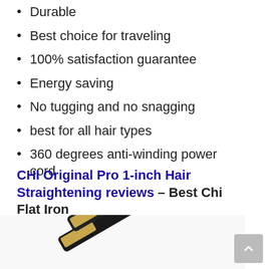Durable
Best choice for traveling
100% satisfaction guarantee
Energy saving
No tugging and no snagging
best for all hair types
360 degrees anti-winding power cord
CHI Original Pro 1-inch Hair Straightening reviews – Best Chi Flat Iron
[Figure (photo): CHI Original Pro 1-inch hair straightening flat iron, black with gold ceramic plates, shown open at an angle]